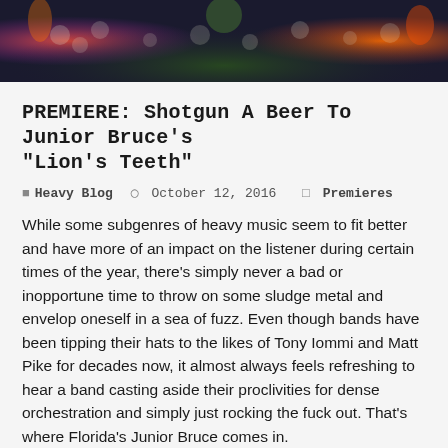[Figure (illustration): Colorful heavy metal illustration banner with skulls, flames, flowers and demonic imagery in red, orange, green, purple tones]
PREMIERE: Shotgun A Beer To Junior Bruce's “Lion’s Teeth”
Heavy Blog   October 12, 2016   Premieres
While some subgenres of heavy music seem to fit better and have more of an impact on the listener during certain times of the year, there’s simply never a bad or inopportune time to throw on some sludge metal and envelop oneself in a sea of fuzz. Even though bands have been tipping their hats to the likes of Tony Iommi and Matt Pike for decades now, it almost always feels refreshing to hear a band casting aside their proclivities for dense orchestration and simply just rocking the fuck out. That’s where Florida’s Junior Bruce comes in.
[Figure (illustration): Black and white detailed illustration of an owl or bird of prey with intricate line art style, dark background]